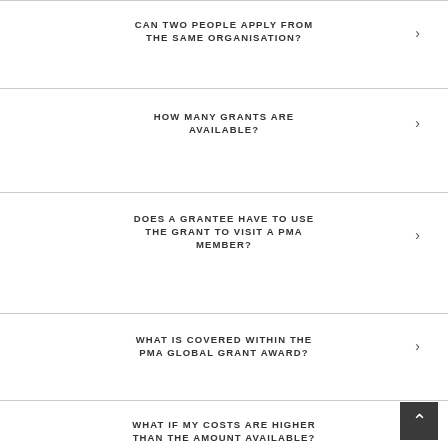CAN TWO PEOPLE APPLY FROM THE SAME ORGANISATION?
HOW MANY GRANTS ARE AVAILABLE?
DOES A GRANTEE HAVE TO USE THE GRANT TO VISIT A PMA MEMBER?
WHAT IS COVERED WITHIN THE PMA GLOBAL GRANT AWARD?
WHAT IF MY COSTS ARE HIGHER THAN THE AMOUNT AVAILABLE?